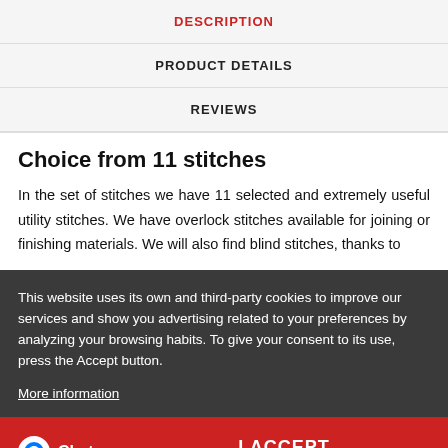DESCRIPTION
PRODUCT DETAILS
REVIEWS
Choice from 11 stitches
In the set of stitches we have 11 selected and extremely useful utility stitches. We have overlock stitches available for joining or finishing materials. We will also find blind stitches, thanks to
This website uses its own and third-party cookies to improve our services and show you advertising related to your preferences by analyzing your browsing habits. To give your consent to its use, press the Accept button.
More information
Chat
I ACCEPT